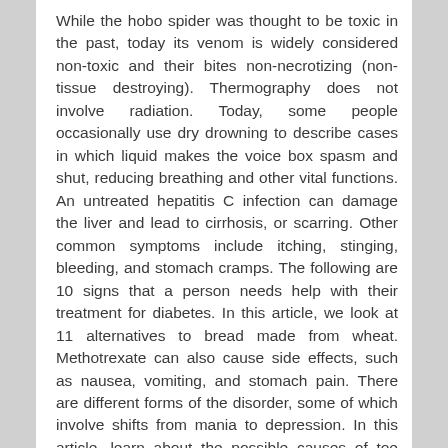While the hobo spider was thought to be toxic in the past, today its venom is widely considered non-toxic and their bites non-necrotizing (non-tissue destroying). Thermography does not involve radiation. Today, some people occasionally use dry drowning to describe cases in which liquid makes the voice box spasm and shut, reducing breathing and other vital functions. An untreated hepatitis C infection can damage the liver and lead to cirrhosis, or scarring. Other common symptoms include itching, stinging, bleeding, and stomach cramps. The following are 10 signs that a person needs help with their treatment for diabetes. In this article, we look at 11 alternatives to bread made from wheat. Methotrexate can also cause side effects, such as nausea, vomiting, and stomach pain. There are different forms of the disorder, some of which involve shifts from mania to depression. In this article, learn about the possible causes of toe cramps and how to get relief with treatment and home remedies. In an attempt to keep sperm healthy, men are encouraged to maintain a healthy body weight, eat a healthy diet, prevent sexually transmitted diseases, manage stress